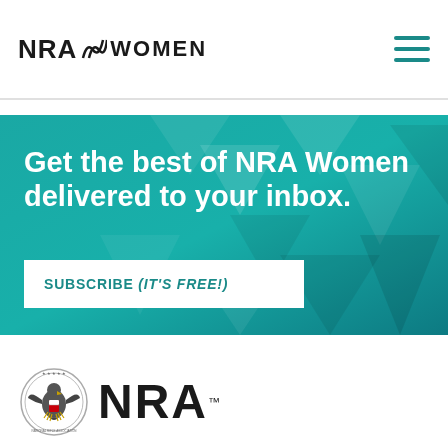NRA WOMEN
[Figure (screenshot): NRA Women website screenshot showing teal banner with text 'Get the best of NRA Women delivered to your inbox.' and a Subscribe (It's Free!) button, with NRA logo at bottom]
Get the best of NRA Women delivered to your inbox.
SUBSCRIBE (IT'S FREE!)
[Figure (logo): NRA seal/eagle logo and NRA wordmark at bottom of page]